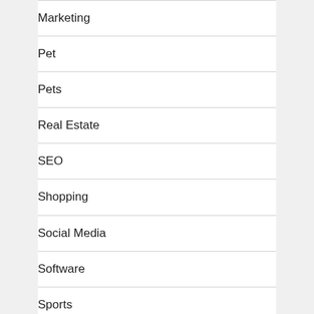Marketing
Pet
Pets
Real Estate
SEO
Shopping
Social Media
Software
Sports